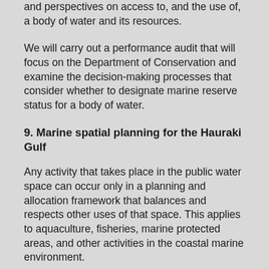and perspectives on access to, and the use of, a body of water and its resources.
We will carry out a performance audit that will focus on the Department of Conservation and examine the decision-making processes that consider whether to designate marine reserve status for a body of water.
9. Marine spatial planning for the Hauraki Gulf
Any activity that takes place in the public water space can occur only in a planning and allocation framework that balances and respects other uses of that space. This applies to aquaculture, fisheries, marine protected areas, and other activities in the coastal marine environment.
We will examine how one multi-sector group is trying to balance competing water issues through taking a place-based approach to addressing the pressures on an area